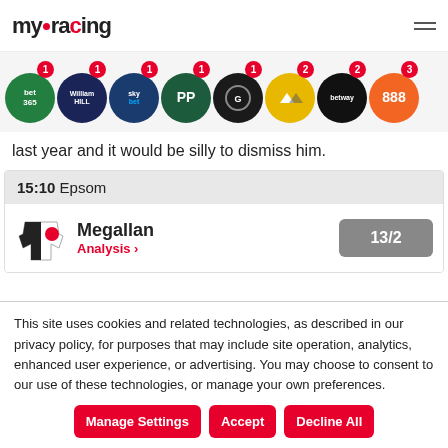myracing
[Figure (logo): Row of bookmaker logos: bet365, William Hill, Sky Bet, PP, Grosvenor, Betfair, Betway, 888]
last year and it would be silly to dismiss him.
15:10 Epsom
Megallan
Analysis ›
13/2
This site uses cookies and related technologies, as described in our privacy policy, for purposes that may include site operation, analytics, enhanced user experience, or advertising. You may choose to consent to our use of these technologies, or manage your own preferences.
Manage Settings | Accept | Decline All